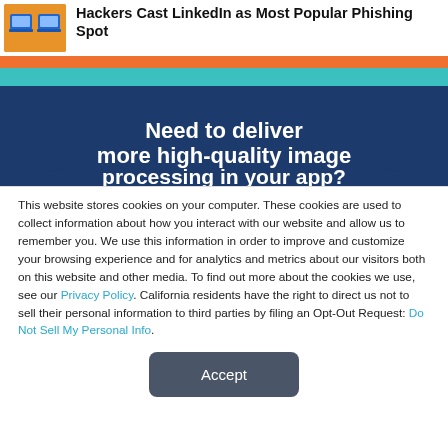Hackers Cast LinkedIn as Most Popular Phishing Spot
[Figure (illustration): Decorative banner graphic with orange, teal, and dark blue layered chevron shapes with white bold text: 'Need to deliver more high-quality image processing in your app?']
This website stores cookies on your computer. These cookies are used to collect information about how you interact with our website and allow us to remember you. We use this information in order to improve and customize your browsing experience and for analytics and metrics about our visitors both on this website and other media. To find out more about the cookies we use, see our Privacy Policy. California residents have the right to direct us not to sell their personal information to third parties by filing an Opt-Out Request: Do Not Sell My Personal Info.
Accept